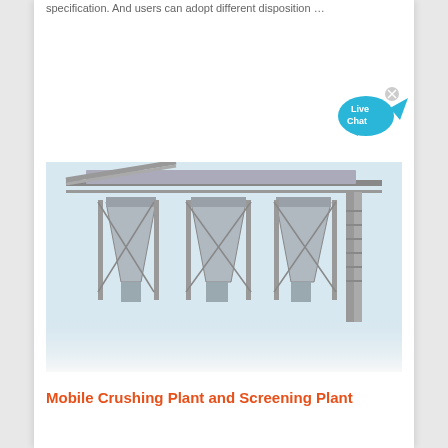specification. And users can adopt different disposition …
[Figure (photo): Industrial crushing and screening plant with multiple large hopper/funnel structures on a steel frame, photographed against a light sky background.]
Get Quote
[Figure (illustration): Live Chat bubble icon in cyan/blue color with 'Live Chat' text and an X close button]
Mobile Crushing Plant and Screening Plant